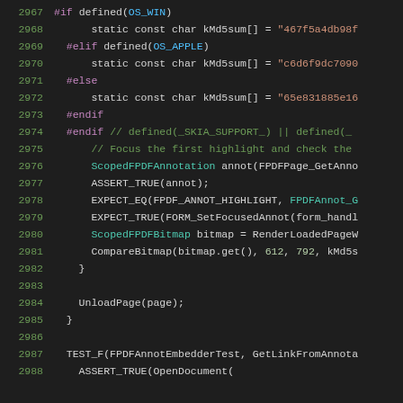[Figure (screenshot): Source code viewer showing C++ code lines 2967-2988 with syntax highlighting on dark background. Lines include preprocessor directives (#if, #elif, #else, #endif), static const char declarations with MD5 sum strings, and C++ test function code with ScopedFPDFAnnotation, ASSERT_TRUE, EXPECT_EQ, EXPECT_TRUE, ScopedFPDFBitmap, CompareBitmap calls, UnloadPage, closing brace, and TEST_F function declaration.]